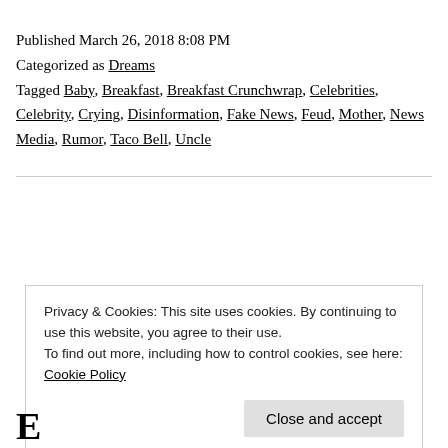Published March 26, 2018 8:08 PM
Categorized as Dreams
Tagged Baby, Breakfast, Breakfast Crunchwrap, Celebrities, Celebrity, Crying, Disinformation, Fake News, Feud, Mother, News Media, Rumor, Taco Bell, Uncle
Privacy & Cookies: This site uses cookies. By continuing to use this website, you agree to their use. To find out more, including how to control cookies, see here: Cookie Policy